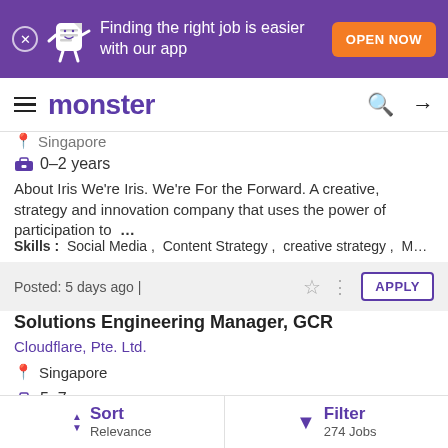[Figure (screenshot): Monster job board app promotional banner with purple background, mascot character, and orange 'OPEN NOW' button]
monster
Singapore
0–2 years
About Iris We're Iris. We're For the Forward. A creative, strategy and innovation company that uses the power of participation to …
Skills: Social Media , Content Strategy , creative strategy , M…
Posted: 5 days ago |
Solutions Engineering Manager, GCR
Cloudflare, Pte. Ltd.
Singapore
5–7 years
Sort Relevance | Filter 274 Jobs